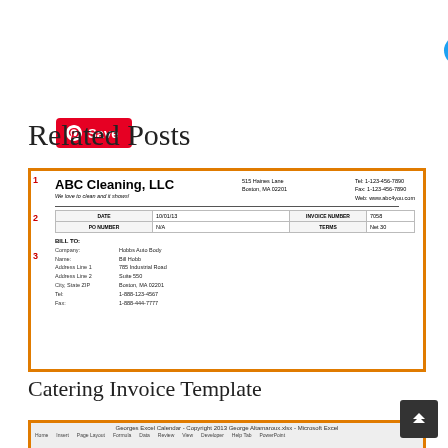[Figure (screenshot): Tweet button - blue rounded rectangle with Twitter bird icon and 'Tweet' text]
[Figure (screenshot): Save button - red rounded rectangle with Pinterest P icon and 'Save' text]
Related Posts
[Figure (screenshot): Invoice template screenshot showing ABC Cleaning LLC invoice with numbered sections (1, 2, 3). Header: ABC Cleaning, LLC, We love to clean and it shows!, 515 Haines Lane, Boston MA 02201, Tel: 1-123-456-7890, Fax: 1-123-456-7890, Web: www.abc4you.com. Section 2 table with DATE: 10/01/13, INVOICE NUMBER: 7058, PO NUMBER: N/A, TERMS: Net 30. Section 3 BILL TO: Company: Hobbs Auto Body, Name: Bill Hobb, Address Line 1: 785 Industrial Road, Address Line 2: Suite 550, City, State ZIP: Boston, MA 02201, Tel: 1-888-123-4567, Fax: 1-888-...]
Catering Invoice Template
[Figure (screenshot): Microsoft Excel spreadsheet screenshot showing 'Georges Excel Calendar - Copyright 2013 George Altamaroux.xlsx - Microsoft Excel' in title bar with ribbon tabs visible: Home, Insert, Page Layout, Formula, Data, Review, View, Developer, Help Tab, PowerPoint]